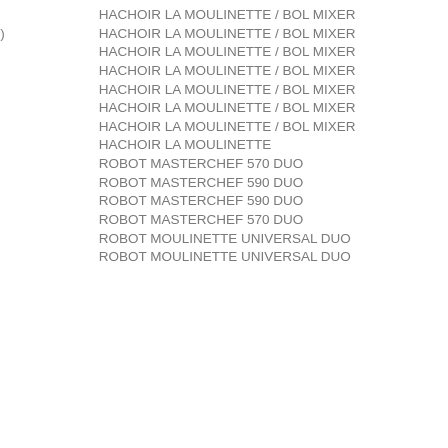AR684C(1)    HACHOIR LA MOULINETTE / BOL MIXER
AR684CF(1)   HACHOIR LA MOULINETTE / BOL MIXER
AR684E(1)    HACHOIR LA MOULINETTE / BOL MIXER
AR684F(1)    HACHOIR LA MOULINETTE / BOL MIXER
AR684F(P)    HACHOIR LA MOULINETTE / BOL MIXER
AR684G(1)    HACHOIR LA MOULINETTE / BOL MIXER
AR684H(P)    HACHOIR LA MOULINETTE / BOL MIXER
AR684J(P)    HACHOIR LA MOULINETTE
AR9441(0)    ROBOT MASTERCHEF 570 DUO
AR9443(0)    ROBOT MASTERCHEF 590 DUO
AR9445(1)    ROBOT MASTERCHEF 590 DUO
AR9446(1)    ROBOT MASTERCHEF 570 DUO
AR9447(1)    ROBOT MOULINETTE UNIVERSAL DUO
AR9448(1)    ROBOT MOULINETTE UNIVERSAL DUO